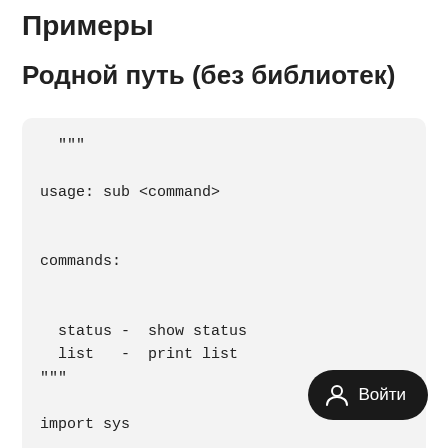Примеры
Родной путь (без библиотек)
"""

usage: sub <command>


commands:


  status -  show status
  list   -  print list
"""
import sys


def check():
    print("status")